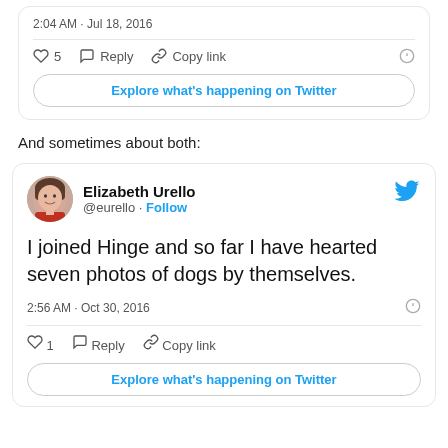[Figure (screenshot): Partial tweet card showing timestamp 2:04 AM · Jul 18, 2016 with like count 5, Reply, Copy link actions and Explore what's happening on Twitter button]
And sometimes about both:
[Figure (screenshot): Tweet by Elizabeth Urello (@eurello) with Twitter bird logo. Tweet text: I joined Hinge and so far I have hearted seven photos of dogs by themselves. Timestamp: 2:56 AM · Oct 30, 2016. Actions: 1 like, Reply, Copy link. Explore what's happening on Twitter button.]